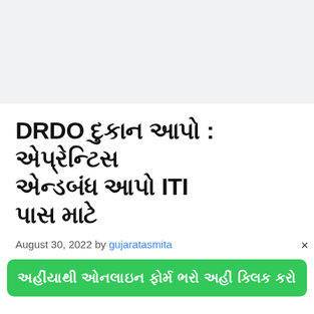DRDO ભરતી 2022 : એપ્રેન્ટિસ એન્ડ ITI પાસ માટે
August 30, 2022 by gujaratasmita
અહીંયાથી ઓનલાઇન ફોર્મ ભરો અહીં ક્લિક કરો